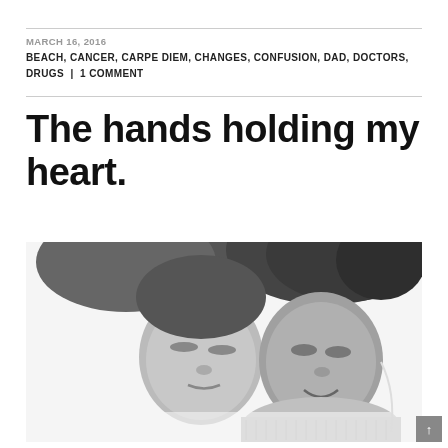MARCH 16, 2016
BEACH, CANCER, CARPE DIEM, CHANGES, CONFUSION, DAD, DOCTORS, DRUGS | 1 COMMENT
The hands holding my heart.
[Figure (photo): Black and white overhead photo of two people lying down looking up at the camera, faces upside down, one wearing a knit scarf.]